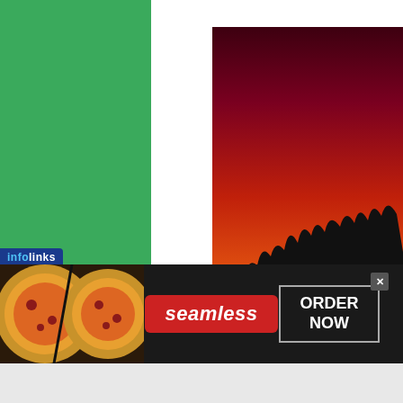[Figure (illustration): Green panel background on left portion of page]
[Figure (photo): Dramatic sunset photo showing vivid red, orange and yellow sky with silhouetted tree line at bottom]
infolinks
[Figure (infographic): Advertisement banner with pizza images on left, red Seamless logo in center, and 'ORDER NOW' button on right, on dark background]